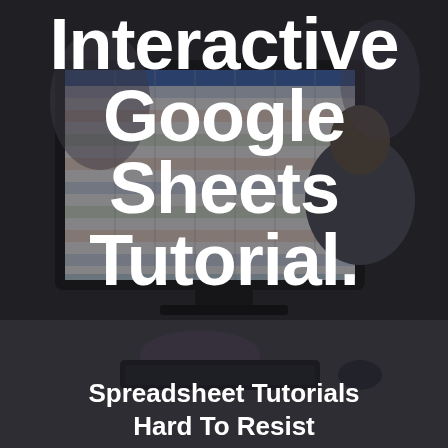[Figure (photo): Blurred background photo of a person working at a computer displaying a colorful spreadsheet, with other people visible in the background. Dark overlay applied over the photo.]
Interactive Google Sheets Tutorial.
Spreadsheet Tutorials Hard To Resist